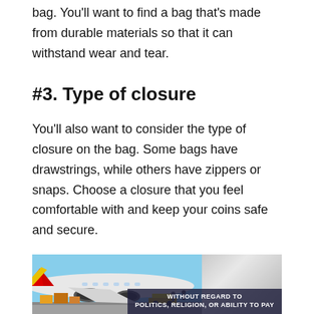The next factor to consider is the material of the bag. You'll want to find a bag that's made from durable materials so that it can withstand wear and tear.
#3. Type of closure
You'll also want to consider the type of closure on the bag. Some bags have drawstrings, while others have zippers or snaps. Choose a closure that you feel comfortable with and keep your coins safe and secure.
#4. Design of the bag
[Figure (photo): Advertisement photo showing cargo being loaded onto a commercial airplane on a tarmac, with an overlay banner reading 'WITHOUT REGARD TO POLITICS, RELIGION, OR ABILITY TO PAY']